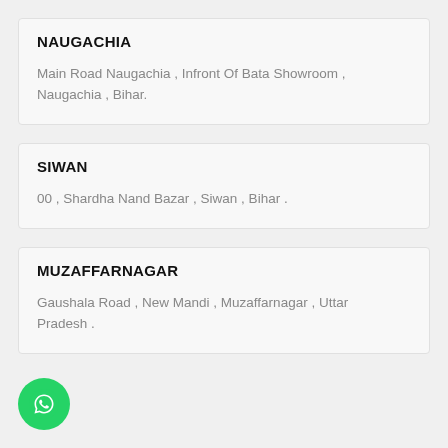NAUGACHIA
Main Road Naugachia , Infront Of Bata Showroom , Naugachia , Bihar.
SIWAN
00 , Shardha Nand Bazar , Siwan , Bihar .
MUZAFFARNAGAR
Gaushala Road , New Mandi , Muzaffarnagar , Uttar Pradesh .
[Figure (logo): WhatsApp green circular button with phone handset icon]